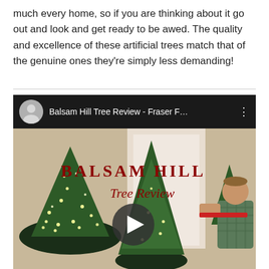much every home, so if you are thinking about it go out and look and get ready to be awed. The quality and excellence of these artificial trees match that of the genuine ones they're simply less demanding!
[Figure (screenshot): YouTube video thumbnail showing 'Balsam Hill Tree Review - Fraser F...' with a channel avatar of a man, a dark header bar, and a thumbnail image of lit Christmas trees with a man assembling one, overlaid with 'BALSAM HILL Tree Review' text and a play button in the center.]